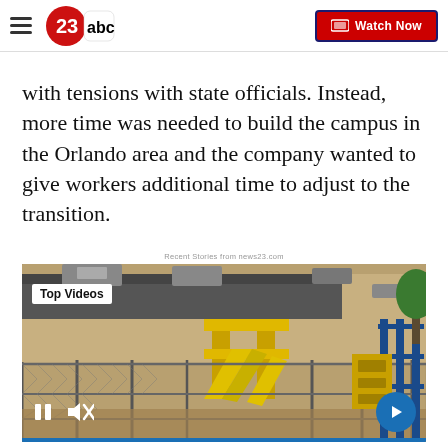23abc | Watch Now
with tensions with state officials. Instead, more time was needed to build the campus in the Orlando area and the company wanted to give workers additional time to adjust to the transition.
Recent Stories from news23.com
[Figure (screenshot): Video player showing a playground behind a chain-link fence, with Top Videos label, pause button, mute button, and next arrow button, with a blue progress bar at the bottom.]